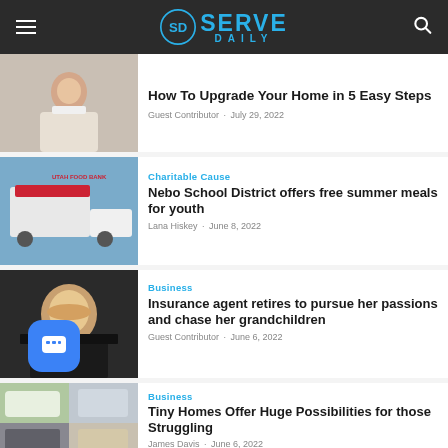Serve Daily
[Figure (photo): Woman sitting at table smiling]
How To Upgrade Your Home in 5 Easy Steps
Guest Contributor · July 29, 2022
[Figure (photo): Utah Food Bank truck]
Charitable Cause
Nebo School District offers free summer meals for youth
Lana Hiskey · June 8, 2022
[Figure (photo): Woman with blonde hair smiling]
Business
Insurance agent retires to pursue her passions and chase her grandchildren
Guest Contributor · June 6, 2022
[Figure (photo): Tiny homes collage]
Business
Tiny Homes Offer Huge Possibilities for those Struggling
James Davis · June 6, 2022